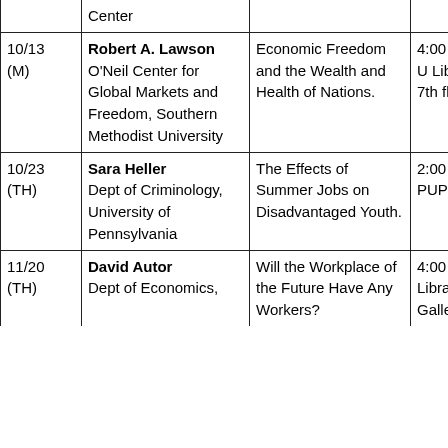| Date | Speaker | Title | Time/Location |
| --- | --- | --- | --- |
|  | Center |  |  |
| 10/13 (M) | Robert A. Lawson
O'Neil Center for Global Markets and Freedom, Southern Methodist University | Economic Freedom and the Wealth and Health of Nations. | 4:00 pm
U Library
7th floor |
| 10/23 (TH) | Sara Heller
Dept of Criminology, University of Pennsylvania | The Effects of Summer Jobs on Disadvantaged Youth. | 2:00 pm
PUP 204 |
| 11/20 (TH) | David Autor
Dept of Economics, | Will the Workplace of the Future Have Any Workers? | 4:00 pm
Library
Gallery |